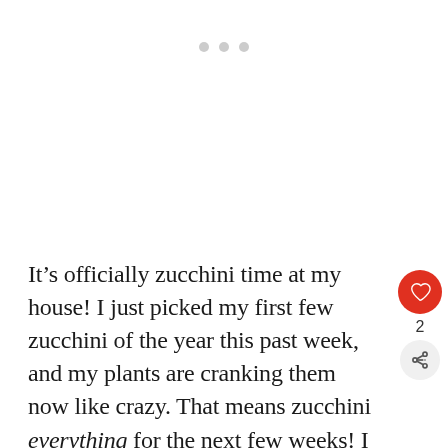[Figure (other): Three gray dots (pagination indicator) near the top center of the page]
It’s officially zucchini time at my house! I just picked my first few zucchini of the year this past week, and my plants are cranking them now like crazy. That means zucchini everything for the next few weeks! I LOVE making the old favorites and finding new zucchini recipes to